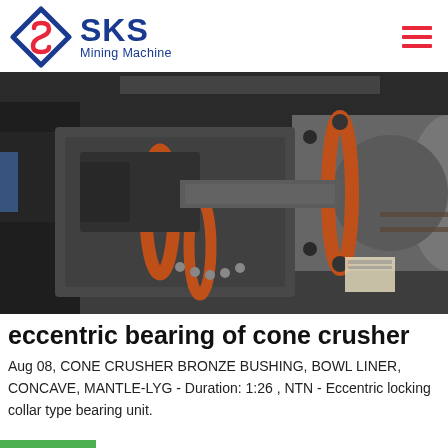[Figure (logo): SKS Mining Machine logo — diamond shape with S inside, red and blue colors, company name in blue]
[Figure (photo): Industrial cone crusher machine components photographed in a workshop/factory setting. Large dark grey metal cylindrical parts with orange/red rubber rings and bolts visible. Machine appears disassembled showing internal eccentric bearing components.]
eccentric bearing of cone crusher
Aug 08, CONE CRUSHER BRONZE BUSHING, BOWL LINER, CONCAVE, MANTLE-LYG - Duration: 1:26 , NTN - Eccentric locking collar type bearing unit.